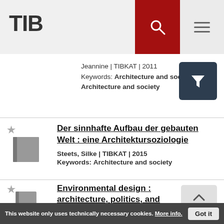TIB
Jeannine | TIBKAT | 2011
Keywords: Architecture and society., Architecture and society
Der sinnhafte Aufbau der gebauten Welt : eine Architektursoziologie
Steets, Silke | TIBKAT | 2015
Keywords: Architecture and society
Environmental design : architecture, politics, and
This website only uses technically necessary cookies. More info.